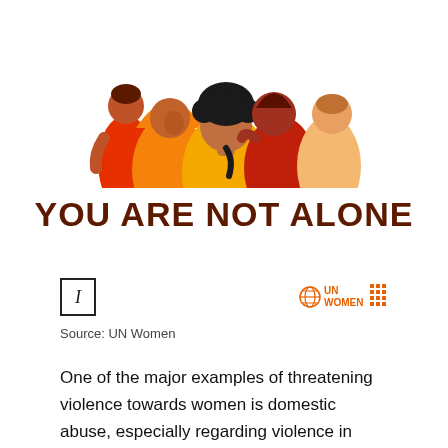[Figure (illustration): Illustration of five women standing close together in warm orange, red, and yellow tones. The central figure has dark curly hair. They are depicted in a flat, modern illustration style suggesting solidarity.]
YOU ARE NOT ALONE
[Figure (logo): UN Women logo in orange, with globe icon and grid pattern]
Source: UN Women
One of the major examples of threatening violence towards women is domestic abuse, especially regarding violence in romantic partnerships. Domestic abuse includes sexual, physical, verbal, and emotional